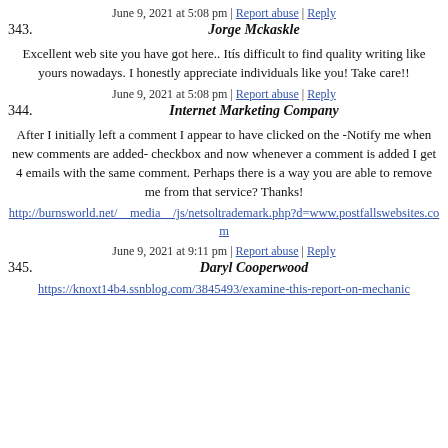June 9, 2021 at 5:08 pm | Report abuse | Reply
343. Jorge Mckaskle
Excellent web site you have got here.. Itís difficult to find quality writing like yours nowadays. I honestly appreciate individuals like you! Take care!!
June 9, 2021 at 5:08 pm | Report abuse | Reply
344. Internet Marketing Company
After I initially left a comment I appear to have clicked on the -Notify me when new comments are added- checkbox and now whenever a comment is added I get 4 emails with the same comment. Perhaps there is a way you are able to remove me from that service? Thanks!
http://burnsworld.net/__media__/js/netsoltrademark.php?d=www.postfallswebsites.com
June 9, 2021 at 9:11 pm | Report abuse | Reply
345. Daryl Cooperwood
https://knoxt14b4.ssnblog.com/3845493/examine-this-report-on-mechanic